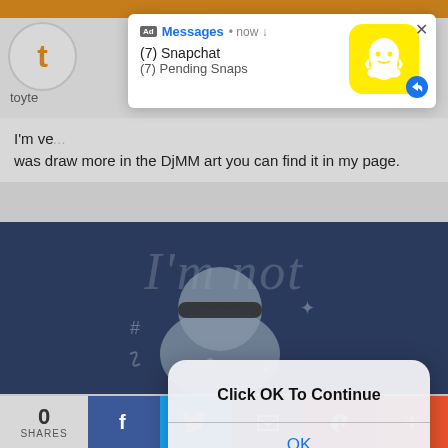[Figure (screenshot): Screenshot of a mobile browser showing a webpage with overlapping ad notification and dialog popup. Top orange bar, site header with 't' logo and 'toyte' text, main body text partially visible, dark blue illustration area with character art, and bottom share bar with 0 shares, Facebook, Twitter, email, Pinterest, and plus buttons.]
I'm ve... was draw more in the DjMM art you can find it in my page.
[Figure (screenshot): Notification popup ad: 'Ad Messages • now ↓' with '(7) Snapchat / (7) Pending Snaps' and Snapchat ghost icon on yellow background with blue reply badge. X close button top right.]
[Figure (screenshot): iOS-style dialog popup with bold text 'Click OK To Continue' and blue 'OK' button below a divider line.]
0
SHARES